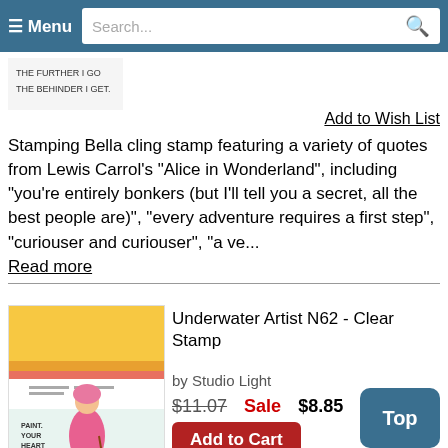☰ Menu  Search...
[Figure (photo): Partial stamp product image showing text 'THE FURTHER I GO THE BEHINDER I GET']
Add to Wish List
Stamping Bella cling stamp featuring a variety of quotes from Lewis Carrol's "Alice in Wonderland", including "you're entirely bonkers (but I'll tell you a secret, all the best people are)", "every adventure requires a first step", "curiouser and curiouser", "a ve...
Read more
[Figure (photo): Product image of Underwater Artist N62 Clear Stamp by Studio Light showing a mermaid painter with text 'PAINT YOUR HEART OUT' surrounded by waves and vines]
Underwater Artist N62 - Clear Stamp
by Studio Light
$11.07 Sale $8.85
Add to Cart
Add to Wish List
Clear stamp from Studio Light featuring waves, vines, mermaid painter, and sentiment "paint your heart
Top